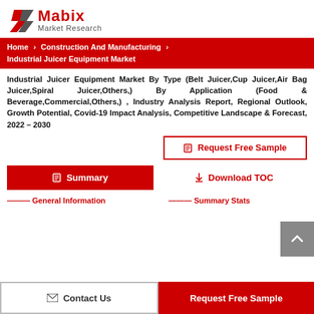[Figure (logo): Mabix Market Research logo with red and grey arrow/chevron graphic]
Home > Construction And Manufacturing > Industrial Juicer Equipment Market
Industrial Juicer Equipment Market By Type (Belt Juicer,Cup Juicer,Air Bag Juicer,Spiral Juicer,Others,) By Application (Food & Beverage,Commercial,Others,) , Industry Analysis Report, Regional Outlook, Growth Potential, Covid-19 Impact Analysis, Competitive Landscape & Forecast, 2022 – 2030
Request Free Sample
Summary
Download TOC
Contact Us
Request Free Sample